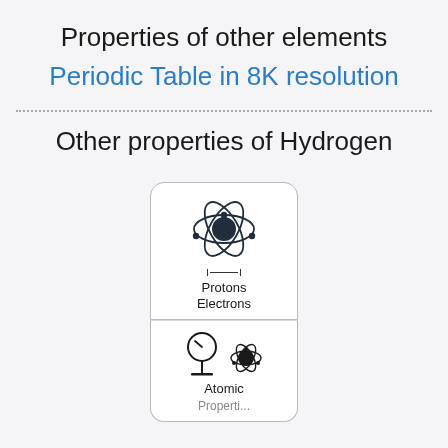Properties of other elements
Periodic Table in 8K resolution
Other properties of Hydrogen
[Figure (illustration): Card showing an atom icon with orbiting electrons, labeled 'Protons' and 'Electrons' with bracket indicators]
[Figure (illustration): Card showing a pressure gauge and atom icon, labeled 'Atomic Properties' (partially visible)]